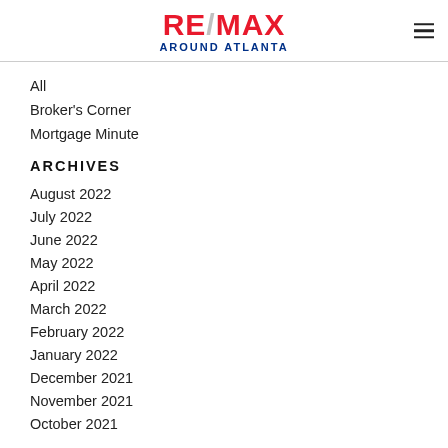RE/MAX AROUND ATLANTA
All
Broker's Corner
Mortgage Minute
ARCHIVES
August 2022
July 2022
June 2022
May 2022
April 2022
March 2022
February 2022
January 2022
December 2021
November 2021
October 2021